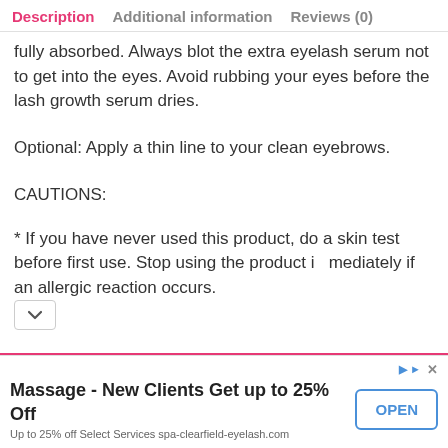Description | Additional information | Reviews (0)
fully absorbed. Always blot the extra eyelash serum not to get into the eyes. Avoid rubbing your eyes before the lash growth serum dries.
Optional: Apply a thin line to your clean eyebrows.
CAUTIONS:
* If you have never used this product, do a skin test before first use. Stop using the product immediately if an allergic reaction occurs.
Massage - New Clients Get up to 25% Off
Up to 25% off Select Services spa-clearfield-eyelash.com